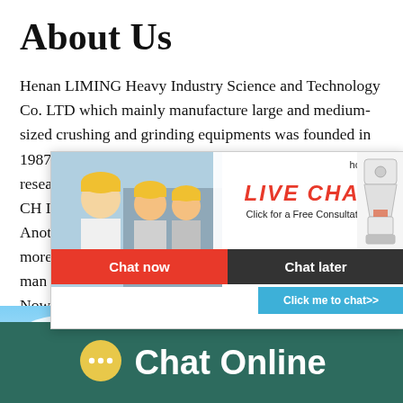About Us
Henan LIMING Heavy Industry Science and Technology Co. LTD which mainly manufacture large and medium-sized crushing and grinding equipments was founded in 1987. It is a modern joint-stock corporation with research, manufacturing and sales together. ...CH Industry Development... hour online Another work... Over the more... scientific man... pioneering and innovation. Now LIMING ha... in domestic and oversea machinery manufact...
[Figure (photo): Live chat popup overlay showing workers in hard hats, 'LIVE CHAT Click for a Free Consultation' text, Chat now and Chat later buttons, and a cone crusher machine image with 'Click me to chat>>' button]
[Figure (photo): Blue sky and landscape strip at bottom of content area]
Chat Online